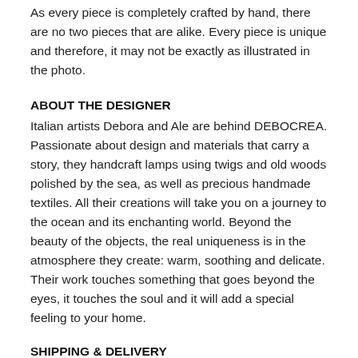As every piece is completely crafted by hand, there are no two pieces that are alike. Every piece is unique and therefore, it may not be exactly as illustrated in the photo.
ABOUT THE DESIGNER
Italian artists Debora and Ale are behind DEBOCREA. Passionate about design and materials that carry a story, they handcraft lamps using twigs and old woods polished by the sea, as well as precious handmade textiles. All their creations will take you on a journey to the ocean and its enchanting world. Beyond the beauty of the objects, the real uniqueness is in the atmosphere they create: warm, soothing and delicate. Their work touches something that goes beyond the eyes, it touches the soul and it will add a special feeling to your home.
SHIPPING & DELIVERY
Made-To-Order: Crafted just for you in 7 days.
Ships from Bologna, Italy.